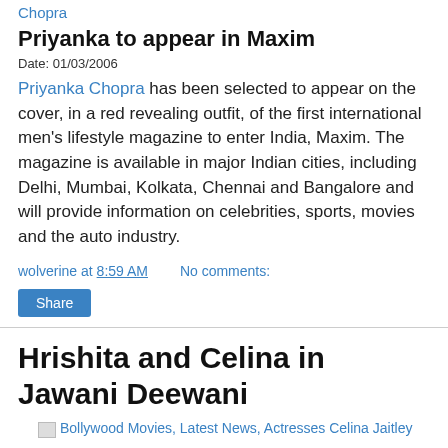Chopra
Priyanka to appear in Maxim
Date: 01/03/2006
Priyanka Chopra has been selected to appear on the cover, in a red revealing outfit, of the first international men's lifestyle magazine to enter India, Maxim. The magazine is available in major Indian cities, including Delhi, Mumbai, Kolkata, Chennai and Bangalore and will provide information on celebrities, sports, movies and the auto industry.
wolverine at 8:59 AM    No comments:
Share
Hrishita and Celina in Jawani Deewani
[Figure (photo): Broken image placeholder for Bollywood Movies, Latest News, Actresses Celina Jaitley]
Hrishita and Celina in Jawani Deewani
Date: 01/03/2006
Hrishita Bhatt and Celina Jaitley are both in the...